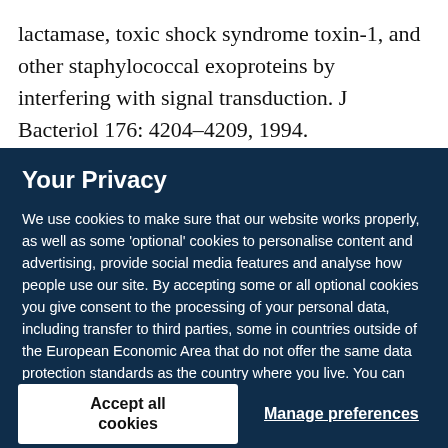lactamase, toxic shock syndrome toxin-1, and other staphylococcal exoproteins by interfering with signal transduction. J Bacteriol 176: 4204–4209, 1994.
Your Privacy
We use cookies to make sure that our website works properly, as well as some 'optional' cookies to personalise content and advertising, provide social media features and analyse how people use our site. By accepting some or all optional cookies you give consent to the processing of your personal data, including transfer to third parties, some in countries outside of the European Economic Area that do not offer the same data protection standards as the country where you live. You can decide which optional cookies to accept by clicking on 'Manage Settings', where you can also find more information about how your personal data is processed. Further information can be found in our privacy policy.
Accept all cookies
Manage preferences